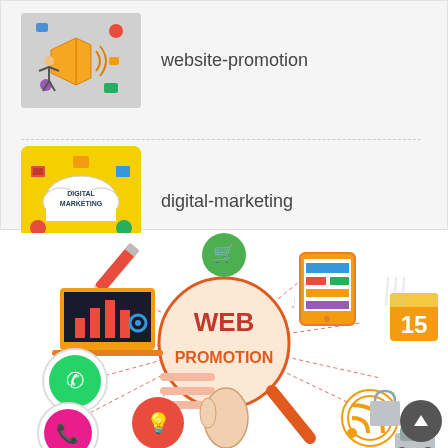[Figure (illustration): Thumbnail image for website-promotion showing megaphone with digital marketing icons]
website-promotion
[Figure (illustration): Yellow square thumbnail showing Digital Marketing cloud concept with icons]
digital-marketing
[Figure (infographic): Web promotion infographic: magnifying glass with WEB PROMOTION text in center, surrounded by icons for analytics laptop, WhatsApp, phone, lightbulb, shopping basket, tablet, calendar with 15, RSS feed, map walks logo, shopping bag, car, with dashed lines connecting to center]